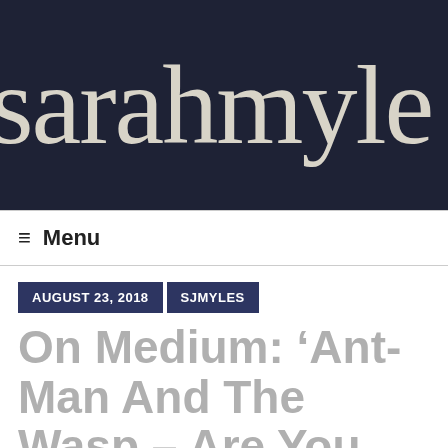[Figure (photo): Dark navy blue background with large serif text reading 'sarahmyle' (partially cropped), serving as a blog header/banner image]
Menu
AUGUST 23, 2018   SJMYLES
On Medium: ‘Ant-Man And The Wasp – Are You Unhappy With Cha...